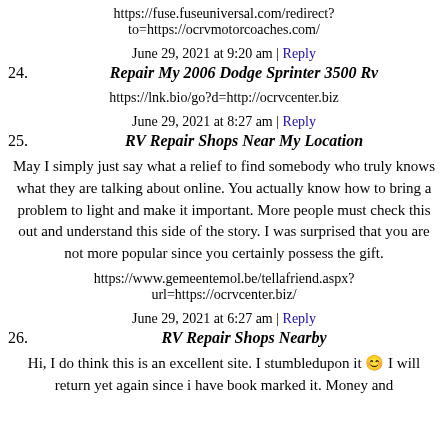https://fuse.fuseuniversal.com/redirect?to=https://ocrvmotorcoaches.com/
June 29, 2021 at 9:20 am | Reply
24. Repair My 2006 Dodge Sprinter 3500 Rv
https://lnk.bio/go?d=http://ocrvcenter.biz
June 29, 2021 at 8:27 am | Reply
25. RV Repair Shops Near My Location
May I simply just say what a relief to find somebody who truly knows what they are talking about online. You actually know how to bring a problem to light and make it important. More people must check this out and understand this side of the story. I was surprised that you are not more popular since you certainly possess the gift.
https://www.gemeentemol.be/tellafriend.aspx?url=https://ocrvcenter.biz/
June 29, 2021 at 6:27 am | Reply
26. RV Repair Shops Nearby
Hi, I do think this is an excellent site. I stumbledupon it 😉 I will return yet again since i have book marked it. Money and